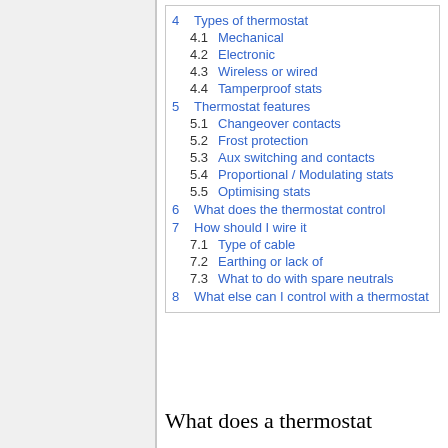4 Types of thermostat
4.1 Mechanical
4.2 Electronic
4.3 Wireless or wired
4.4 Tamperproof stats
5 Thermostat features
5.1 Changeover contacts
5.2 Frost protection
5.3 Aux switching and contacts
5.4 Proportional / Modulating stats
5.5 Optimising stats
6 What does the thermostat control
7 How should I wire it
7.1 Type of cable
7.2 Earthing or lack of
7.3 What to do with spare neutrals
8 What else can I control with a thermostat
What does a thermostat